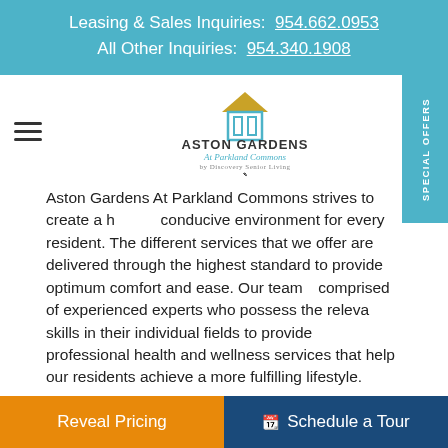Leasing & Sales Inquiries: 954.662.0953
All Other Inquiries: 954.340.1908
[Figure (logo): Aston Gardens At Parkland Commons by Discovery Senior Living logo with house/arch icon]
Aston Gardens At Parkland Commons strives to create a healthy conducive environment for every resident. The different services that we offer are delivered through the highest standard to provide optimum comfort and ease. Our team is comprised of experienced experts who possess the relevant skills in their individual fields to provide professional health and wellness services that help our residents achieve a more fulfilling lifestyle.
To learn more about living in Aston Gardens At Parkland Commons, contact us online or call us at 954.662.0953 today.